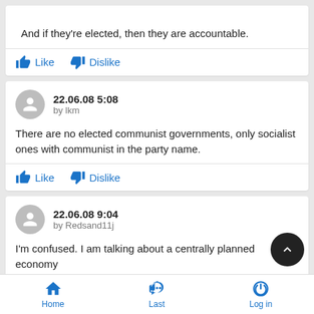And if they're elected, then they are accountable.
Like  Dislike
22.06.08 5:08
by lkm
There are no elected communist governments, only socialist ones with communist in the party name.
Like  Dislike
22.06.08 9:04
by Redsand11j
I'm confused. I am talking about a centrally planned economy
Home  Last  Log in